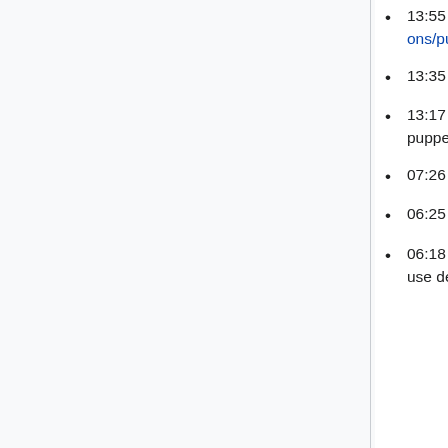13:55 Majavah: cherry pick https://gerrit.wikimedia.org/r/c/operations/puppet/+/675802/ on beta to unblock my progress until merged
13:35 Majavah: create and install deployment-deploy03 T278689
13:17 Majavah: armed deployment-cumin keyholder, found passphrase at deployment-puppetmaster04:/var/lib/git/labs/private/f
07:26 Majavah: shutoff deployment-mediawiki-09 T278664
06:25 Majavah: switch w-beta.wmflabs.org web proxy to deployment-mediawiki11
06:18 Majavah: restart restbase on deployment-restbase03 to pick up config changes to use deployment-mediawiki11